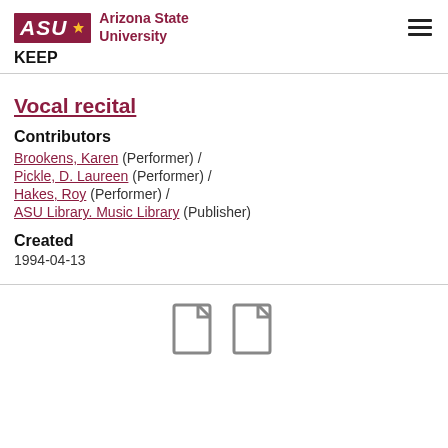ASU Arizona State University | KEEP
Vocal recital
Contributors
Brookens, Karen (Performer) /
Pickle, D. Laureen (Performer) /
Hakes, Roy (Performer) /
ASU Library. Music Library (Publisher)
Created
1994-04-13
[Figure (other): Two document/file icons in gray]